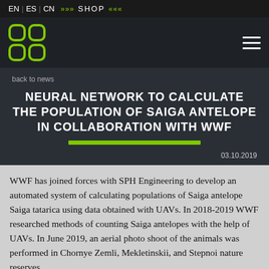EN | ES | CN »»» SHOP «««
[Figure (logo): SPH Engineering logo — four rounded squares arranged in a 2x2 grid, green on dark background]
back to news
NEURAL NETWORK TO CALCULATE THE POPULATION OF SAIGA ANTELOPE IN COLLABORATION WITH WWF
03.10.2019
WWF has joined forces with SPH Engineering to develop an automated system of calculating populations of Saiga antelope Saiga tatarica using data obtained with UAVs. In 2018-2019 WWF researched methods of counting Saiga antelopes with the help of UAVs. In June 2019, an aerial photo shoot of the animals was performed in Chornye Zemli, Mekletinskii, and Stepnoi nature reserves.